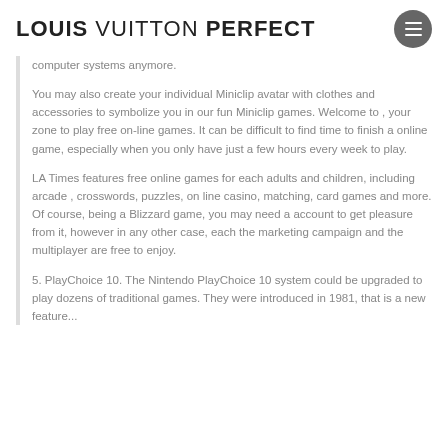LOUIS VUITTON PERFECT
computer systems anymore.
You may also create your individual Miniclip avatar with clothes and accessories to symbolize you in our fun Miniclip games. Welcome to , your zone to play free on-line games. It can be difficult to find time to finish a online game, especially when you only have just a few hours every week to play.
LA Times features free online games for each adults and children, including arcade , crosswords, puzzles, on line casino, matching, card games and more. Of course, being a Blizzard game, you may need a account to get pleasure from it, however in any other case, each the marketing campaign and the multiplayer are free to enjoy.
5. PlayChoice 10. The Nintendo PlayChoice 10 system could be upgraded to play dozens of traditional games. They were introduced in 1981, that is a new feature...